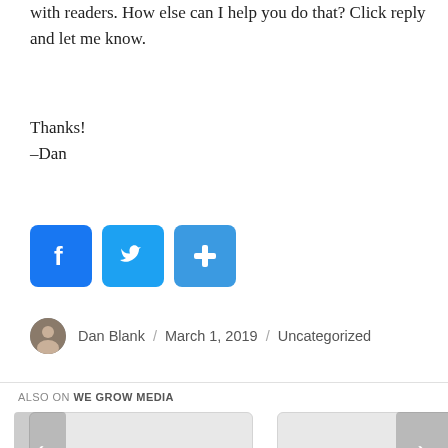with readers. How else can I help you do that? Click reply and let me know.
Thanks!
-Dan
[Figure (infographic): Three social sharing buttons: Facebook (f icon), Twitter (bird icon), and a plus/share icon, all in blue rounded square buttons.]
Dan Blank / March 1, 2019 / Uncategorized
ALSO ON WE GROW MEDIA
[Figure (screenshot): Two article preview cards and a partial third card in a horizontal carousel with left and right navigation arrows. The first card shows a footer label '...ths ago • 2 comments'.]